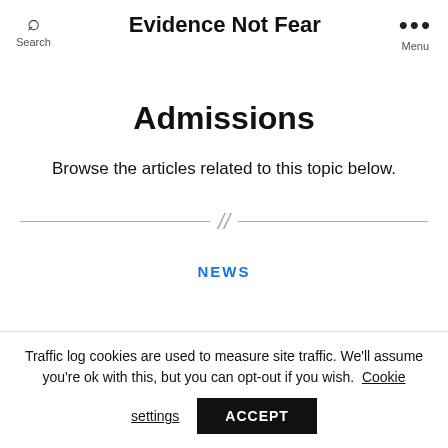Evidence Not Fear
Admissions
Browse the articles related to this topic below.
NEWS
Traffic log cookies are used to measure site traffic. We'll assume you're ok with this, but you can opt-out if you wish. Cookie settings ACCEPT